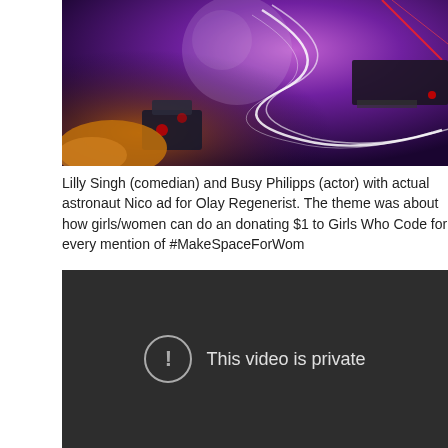[Figure (photo): A close-up photo of a futuristic or sci-fi themed scene with purple, red, and white lighting effects, possibly a helmet or spacecraft element.]
Lilly Singh (comedian) and Busy Philipps (actor) with actual astronaut Nico ad for Olay Regenerist. The theme was about how girls/women can do an donating $1 to Girls Who Code for every mention of #MakeSpaceForWom
[Figure (screenshot): A video player showing a dark background with the message 'This video is private' and a circular warning icon.]